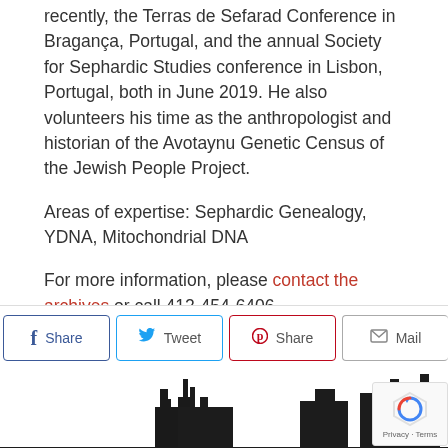recently, the Terras de Sefarad Conference in Bragança, Portugal, and the annual Society for Sephardic Studies conference in Lisbon, Portugal, both in June 2019. He also volunteers his time as the anthropologist and historian of the Avotaynu Genetic Census of the Jewish People Project.
Areas of expertise: Sephardic Genealogy, YDNA, Mitochondrial DNA
For more information, please contact the archives or call 412-454-6406.
[Figure (infographic): Social sharing buttons: Facebook Share, Twitter Tweet, Pinterest Share, Mail]
[Figure (illustration): Pittsburgh city skyline silhouette in black]